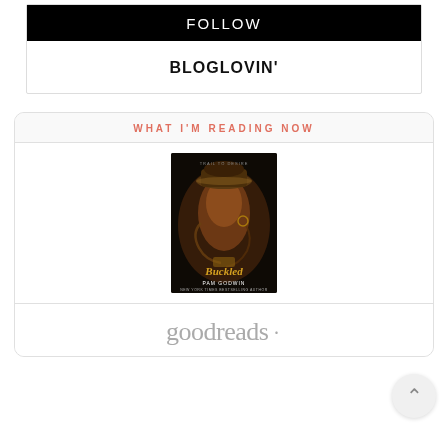FOLLOW
BLOGLOVIN'
WHAT I'M READING NOW
[Figure (photo): Book cover of 'Buckled' by Pam Godwin showing a shirtless man in a cowboy hat with the title in gold script and author name below on a dark background]
[Figure (logo): Goodreads logo in gray text]